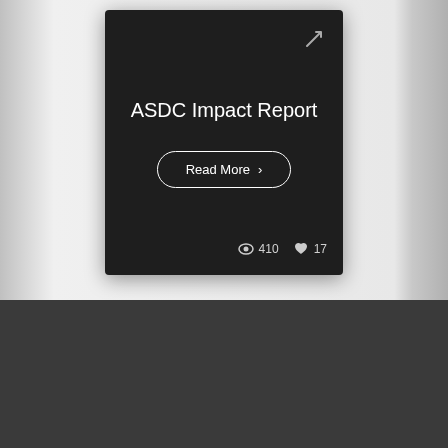ASDC Impact Report
Read More ›
410  17